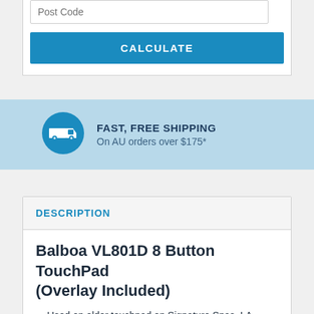Post Code
CALCULATE
[Figure (infographic): Blue circular icon with white truck symbol, representing fast free shipping]
FAST, FREE SHIPPING
On AU orders over $175*
DESCRIPTION
Balboa VL801D 8 Button TouchPad (Overlay Included)
Used on older touchpad on Signature Spas, LA
Spas, Mega Spas, Hibiscus Spas, Discovery...